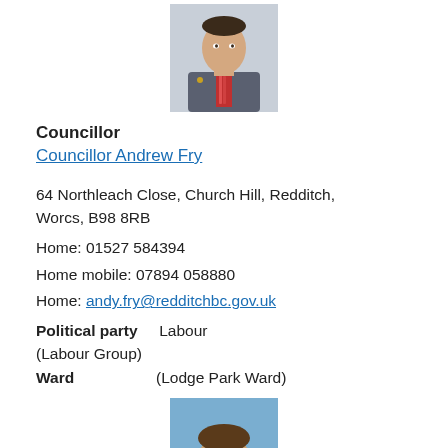[Figure (photo): Photo of Councillor Andrew Fry, a man in a suit with a patterned tie]
Councillor
Councillor Andrew Fry
64 Northleach Close, Church Hill, Redditch, Worcs, B98 8RB
Home: 01527 584394
Home mobile: 07894 058880
Home: andy.fry@redditchbc.gov.uk
Political party    Labour (Labour Group)
Ward               (Lodge Park Ward)
[Figure (photo): Partial photo of another councillor, cropped at bottom of page]